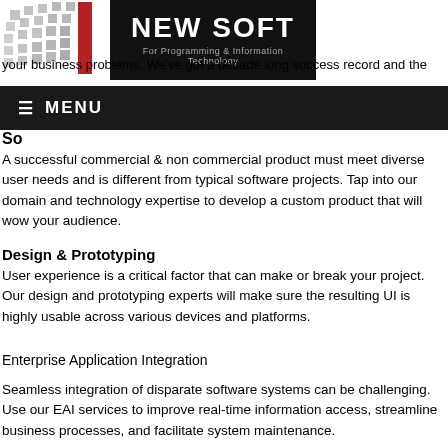[Figure (logo): New Soft logo with dot grid pattern on left and black box with 'NEW SOFT For Programming & Information Technology' text on right]
your business problems. We've got a decade long success record and the
[Figure (screenshot): Dark navigation menu bar with hamburger icon and MENU text]
So
A successful commercial & non commercial product must meet diverse user needs and is different from typical software projects. Tap into our domain and technology expertise to develop a custom product that will wow your audience.
Design & Prototyping
User experience is a critical factor that can make or break your project. Our design and prototyping experts will make sure the resulting UI is highly usable across various devices and platforms.
Enterprise Application Integration
Seamless integration of disparate software systems can be challenging. Use our EAI services to improve real-time information access, streamline business processes, and facilitate system maintenance.